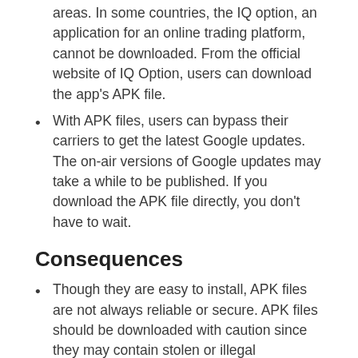areas. In some countries, the IQ option, an application for an online trading platform, cannot be downloaded. From the official website of IQ Option, users can download the app's APK file.
With APK files, users can bypass their carriers to get the latest Google updates. The on-air versions of Google updates may take a while to be published. If you download the APK file directly, you don't have to wait.
Consequences
Though they are easy to install, APK files are not always reliable or secure. APK files should be downloaded with caution since they may contain stolen or illegal applications.
You can download pirated copies of APKs directly from their websites through various APK services available on the Internet. Users should avoid